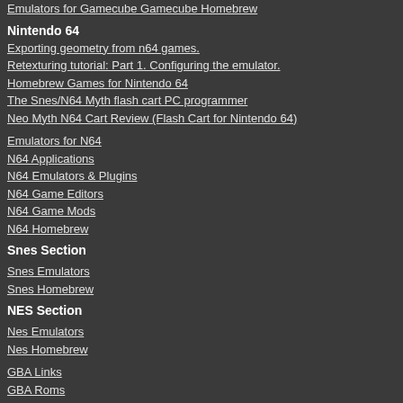Emulators for Gamecube Gamecube Homebrew
Nintendo 64
Exporting geometry from n64 games.
Retexturing tutorial: Part 1. Configuring the emulator.
Homebrew Games for Nintendo 64
The Snes/N64 Myth flash cart PC programmer
Neo Myth N64 Cart Review (Flash Cart for Nintendo 64)
Emulators for N64
N64 Applications
N64 Emulators & Plugins
N64 Game Editors
N64 Game Mods
N64 Homebrew
Snes Section
Snes Emulators
Snes Homebrew
NES Section
Nes Emulators
Nes Homebrew
GBA Links
GBA Roms
GBA/Nintendo Movie Player Firmware
center it. When applied. Depending scaling will be the scaled Am top and botto
THANKS:
Thanks to Cp shader suppo
Thanks to Sch the new large
Thanks to the Schneider, To engineer, fink
Thanks to my Matthew Mac
Click to expand...
OFFICIAL SITE: --> https://git
For more information and downloads, click
There are 0 comments - Join In and Disco
[Figure (other): 300x250uk advertisement banner image]